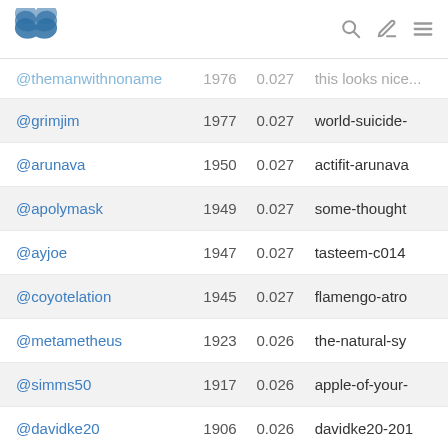Steem logo, search icon, edit icon, menu icon
| username | number | value | slug |
| --- | --- | --- | --- |
| @themanwithnoname | 1976 | 0.027 | this looks nice... |
| @grimjim | 1977 | 0.027 | world-suicide-... |
| @arunava | 1950 | 0.027 | actifit-arunava... |
| @apolymask | 1949 | 0.027 | some-thought... |
| @ayjoe | 1947 | 0.027 | tasteem-c014... |
| @coyotelation | 1945 | 0.027 | flamengo-atro... |
| @metametheus | 1923 | 0.026 | the-natural-sy... |
| @simms50 | 1917 | 0.026 | apple-of-your-... |
| @davidke20 | 1906 | 0.026 | davidke20-201... |